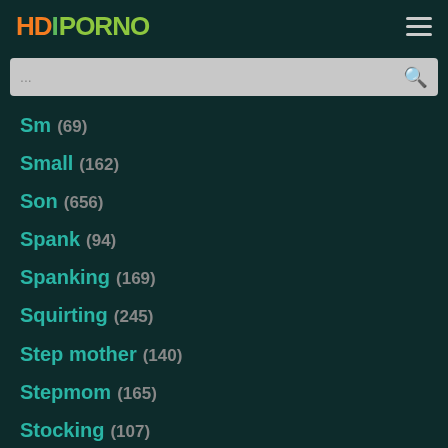HDIPORNO
Sm (69)
Small (162)
Son (656)
Spank (94)
Spanking (169)
Squirting (245)
Step mother (140)
Stepmom (165)
Stocking (107)
Swimming pool (148)
Swingers (158)
Sybian (49)
Taboo (194)